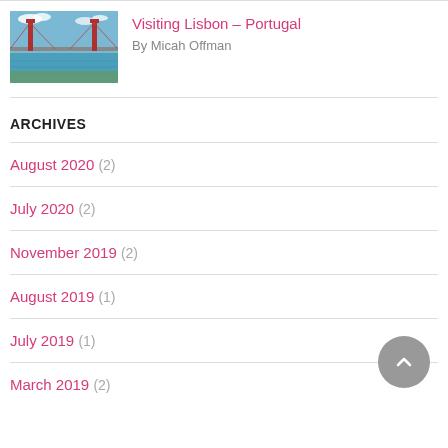[Figure (photo): Thumbnail photo of Lisbon bridge over water with red suspension bridge]
Visiting Lisbon – Portugal
By Micah Offman
ARCHIVES
August 2020 (2)
July 2020 (2)
November 2019 (2)
August 2019 (1)
July 2019 (1)
March 2019 (2)